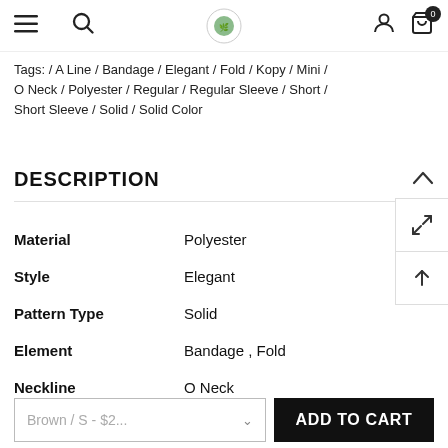Menu / Search / Logo / User / Cart (0)
Tags: / A Line / Bandage / Elegant / Fold / Kopy / Mini / O Neck / Polyester / Regular / Regular Sleeve / Short / Short Sleeve / Solid / Solid Color
DESCRIPTION
| Attribute | Value |
| --- | --- |
| Material | Polyester |
| Style | Elegant |
| Pattern Type | Solid |
| Element | Bandage , Fold |
| Neckline | O Neck |
Brown / S - $2... ∨
ADD TO CART